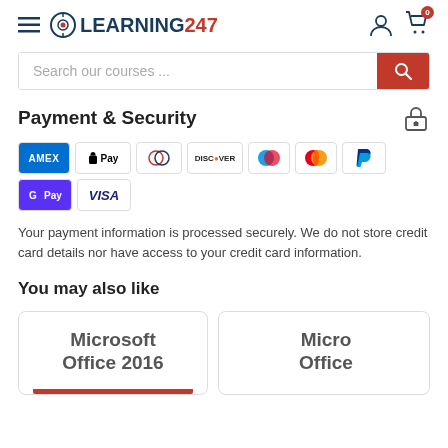LEARNING247
Search our courses ...
Payment & Security
[Figure (other): Payment method icons: American Express, Apple Pay, Diners Club, Discover, Maestro, Mastercard, PayPal, G Pay, Visa]
Your payment information is processed securely. We do not store credit card details nor have access to your credit card information.
You may also like
[Figure (other): Product card: Microsoft Office 2016]
[Figure (other): Product card: Microsoft Office (partially visible)]